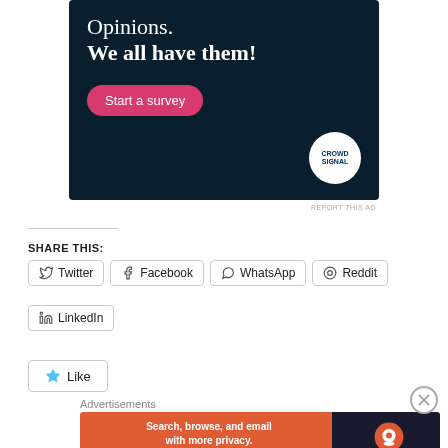[Figure (screenshot): Advertisement banner with dark navy background. Text reads 'Opinions. We all have them!' with a pink 'Start a survey' button and Crowdsignal logo circle.]
REPORT THIS AD
SHARE THIS:
Twitter Facebook WhatsApp Reddit
LinkedIn
Like
Advertisements
[Figure (screenshot): DuckDuckGo advertisement banner: 'Search, browse, and email with more privacy. All in One Free App' on orange background with DuckDuckGo logo on dark right side.]